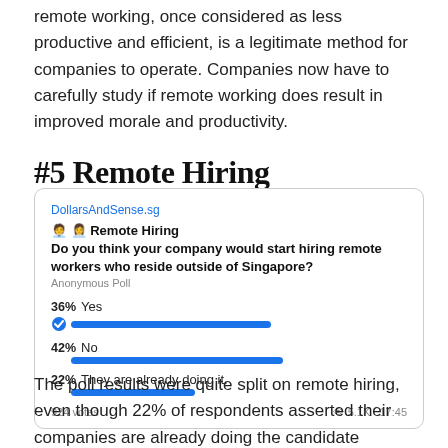remote working, once considered as less productive and efficient, is a legitimate method for companies to operate. Companies now have to carefully study if remote working does result in improved morale and productivity.
#5 Remote Hiring
[Figure (screenshot): A Telegram poll screenshot from DollarsAndSense.sg titled 'Remote Hiring'. Question: 'Do you think your company would start hiring remote workers who reside outside of Singapore?' Anonymous Poll results: 36% Yes (bar shown with checkmark), 42% No (bar shown), 22% They are already doing it. (bar shown). 924 votes, 5.1K views, 17:45.]
The poll results were quite split on remote hiring, even though 22% of respondents asserted their companies are already doing the candidate selection process for brand